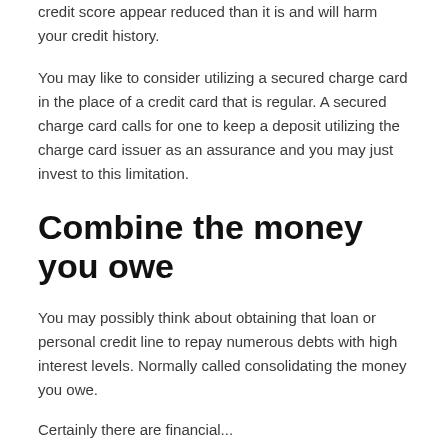credit score appear reduced than it is and will harm your credit history.
You may like to consider utilizing a secured charge card in the place of a credit card that is regular. A secured charge card calls for one to keep a deposit utilizing the charge card issuer as an assurance and you may just invest to this limitation.
Combine the money you owe
You may possibly think about obtaining that loan or personal credit line to repay numerous debts with high interest levels. Normally called consolidating the money you owe.
Certainly there are financial...